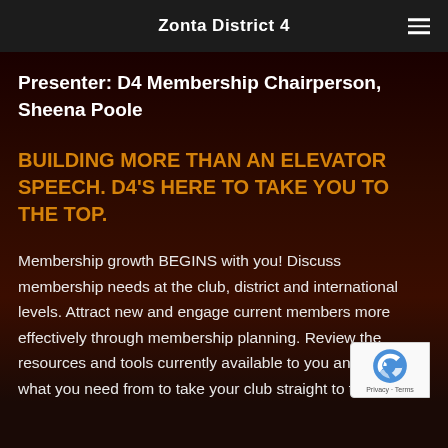Zonta District 4
Presenter: D4 Membership Chairperson, Sheena Poole
BUILDING MORE THAN AN ELEVATOR SPEECH. D4'S HERE TO TAKE YOU TO THE TOP.
Membership growth BEGINS with you! Discuss membership needs at the club, district and international levels. Attract new and engage current members more effectively through membership planning. Review the resources and tools currently available to you and tell us what you need from to take your club straight to the top.